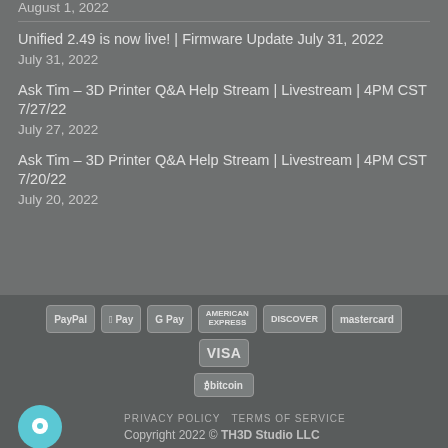August 1, 2022
Unified 2.49 is now live! | Firmware Update July 31, 2022
July 27, 2022
Ask Tim – 3D Printer Q&A Help Stream | Livestream | 4PM CST 7/27/22
July 27, 2022
Ask Tim – 3D Printer Q&A Help Stream | Livestream | 4PM CST 7/20/22
July 20, 2022
[Figure (infographic): Payment method icons: PayPal, Apple Pay, G Pay, American Express, Discover, MasterCard, VISA, Bitcoin]
PRIVACY POLICY   TERMS OF SERVICE
Copyright 2022 © TH3D Studio LLC